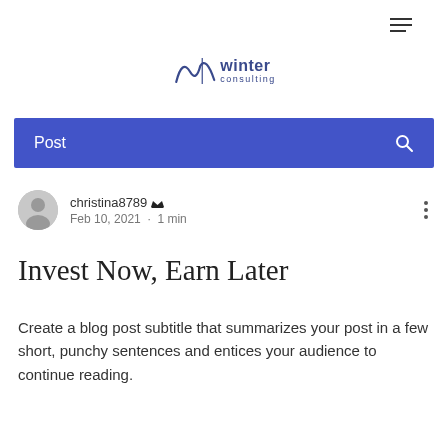[Figure (logo): Winter Consulting logo with wavy line graphic and text 'winter consulting']
Post
christina8789 Admin
Feb 10, 2021 · 1 min
Invest Now, Earn Later
Create a blog post subtitle that summarizes your post in a few short, punchy sentences and entices your audience to continue reading.